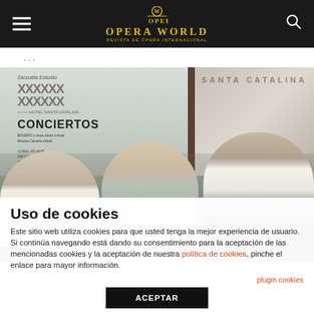Opera World — Revista de Ópera Internacional
...
[Figure (photo): Press conference photo for Zarzuela Estudio Conciertos at Hotel Santa Catalina, showing three people seated at a table with banners in the background. A 'Noticias' label appears at the bottom left.]
Uso de cookies
Este sitio web utiliza cookies para que usted tenga la mejor experiencia de usuario. Si continúa navegando está dando su consentimiento para la aceptación de las mencionadas cookies y la aceptación de nuestra política de cookies, pinche el enlace para mayor información.
plugin cookies
ACEPTAR